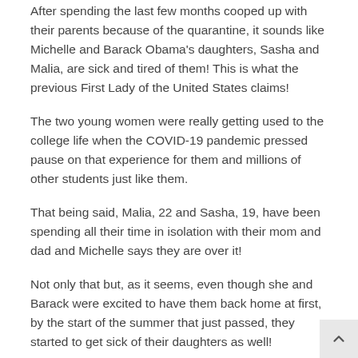After spending the last few months cooped up with their parents because of the quarantine, it sounds like Michelle and Barack Obama's daughters, Sasha and Malia, are sick and tired of them! This is what the previous First Lady of the United States claims!
The two young women were really getting used to the college life when the COVID-19 pandemic pressed pause on that experience for them and millions of other students just like them.
That being said, Malia, 22 and Sasha, 19, have been spending all their time in isolation with their mom and dad and Michelle says they are over it!
Not only that but, as it seems, even though she and Barack were excited to have them back home at first, by the start of the summer that just passed, they started to get sick of their daughters as well!
During an appearance on Conan, Michelle chatted with